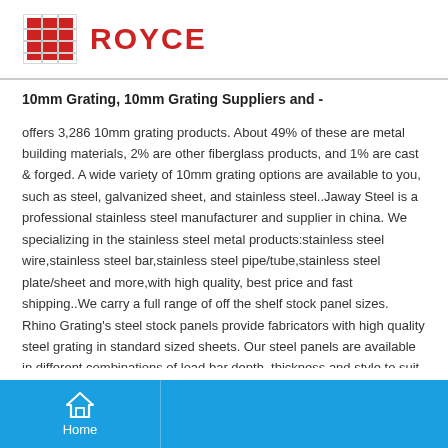ROYCE
10mm Grating, 10mm Grating Suppliers and -
offers 3,286 10mm grating products. About 49% of these are metal building materials, 2% are other fiberglass products, and 1% are cast & forged. A wide variety of 10mm grating options are available to you, such as steel, galvanized sheet, and stainless steel..Jaway Steel is a professional stainless steel manufacturer and supplier in china. We specializing in the stainless steel metal products:stainless steel wire,stainless steel bar,stainless steel pipe/tube,stainless steel plate/sheet and more,with high quality, best price and fast shipping..We carry a full range of off the shelf stock panel sizes. Rhino Grating’s steel stock panels provide fabricators with high quality steel grating in standard sized sheets. Our steel panels are available in different combinations of load bar depth, thickness and style to suit your application..Rectangle Steel Tube is a welded structural grade tubing that is available in either type A513 or A500 Grade B, depending on its size and wall grade is ideal for all structural applications, general fabrication, manufacturing and repairs. Steel Angle Bar and Steel Plate Info - Steel Grating System Steel
Home